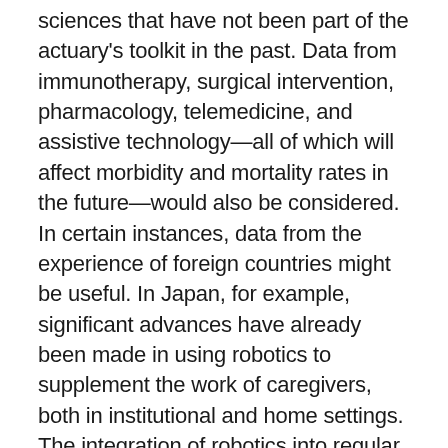sciences that have not been part of the actuary's toolkit in the past. Data from immunotherapy, surgical intervention, pharmacology, telemedicine, and assistive technology—all of which will affect morbidity and mortality rates in the future—would also be considered. In certain instances, data from the experience of foreign countries might be useful. In Japan, for example, significant advances have already been made in using robotics to supplement the work of caregivers, both in institutional and home settings. The integration of robotics into regular daily care routines in the future could reduce reliance on human caregivers here in the U.S. and allow more people to function independently for longer periods of time.
Then there is clustered regularly interspaced short palindromic repeats (CRISPRs), a field of biotechnology that derives from genomic research. CRISPRs are parts of the bacterial immune system